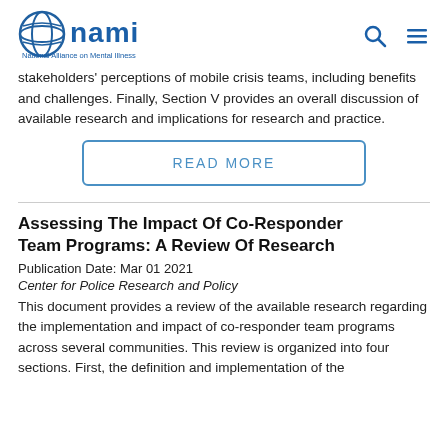NAMI – National Alliance on Mental Illness
stakeholders' perceptions of mobile crisis teams, including benefits and challenges. Finally, Section V provides an overall discussion of available research and implications for research and practice.
READ MORE
Assessing The Impact Of Co-Responder Team Programs: A Review Of Research
Publication Date: Mar 01 2021
Center for Police Research and Policy
This document provides a review of the available research regarding the implementation and impact of co-responder team programs across several communities. This review is organized into four sections. First, the definition and implementation of the